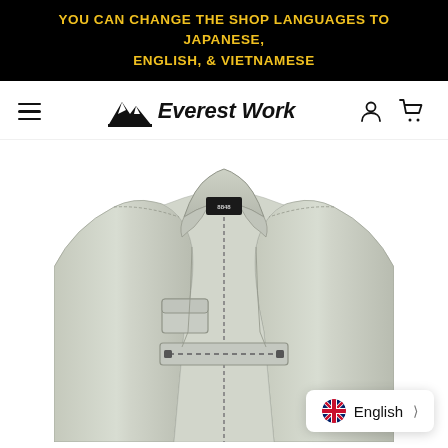YOU CAN CHANGE THE SHOP LANGUAGES TO JAPANESE, ENGLISH, & VIETNAMESE
[Figure (logo): Everest Work brand logo with mountain peaks icon and bold italic text]
[Figure (photo): A light grey/sage green work jacket with zipper chest pocket, standing collar, and brand tag visible at neck. The photo shows the upper torso portion of the jacket on a white background.]
English